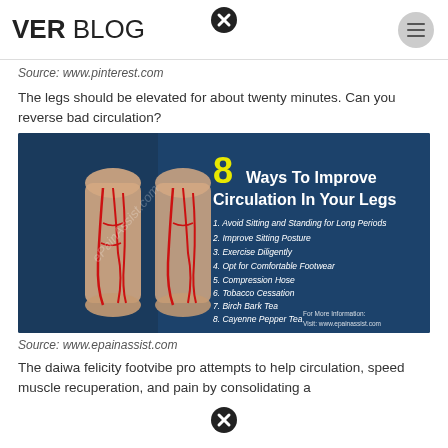VER BLOG
Source: www.pinterest.com
The legs should be elevated for about twenty minutes. Can you reverse bad circulation?
[Figure (infographic): Infographic on dark blue background showing two human legs with red arteries highlighted, titled '8 Ways To Improve Circulation In Your Legs'. Lists: 1. Avoid Sitting and Standing for Long Periods, 2. Improve Sitting Posture, 3. Exercise Diligently, 4. Opt for Comfortable Footwear, 5. Compression Hose, 6. Tobacco Cessation, 7. Birch Bark Tea, 8. Cayenne Pepper Tea. Footer: For More Information: Visit: www.epainassist.com. Watermark: ePainAssist.com]
Source: www.epainassist.com
The daiwa felicity footvibe pro attempts to help circulation, speed muscle recuperation, and pain by consolidating a